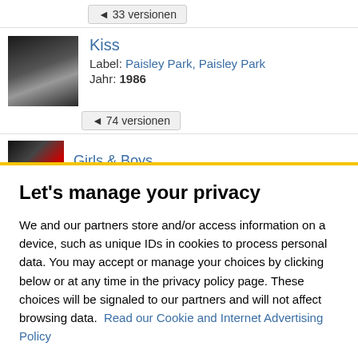◄ 33 versionen
Kiss
Label: Paisley Park, Paisley Park
Jahr: 1986
◄ 74 versionen
Girls & Boys
Let's manage your privacy
We and our partners store and/or access information on a device, such as unique IDs in cookies to process personal data. You may accept or manage your choices by clicking below or at any time in the privacy policy page. These choices will be signaled to our partners and will not affect browsing data. Read our Cookie and Internet Advertising Policy
Cookies Settings
Accept All Cookies